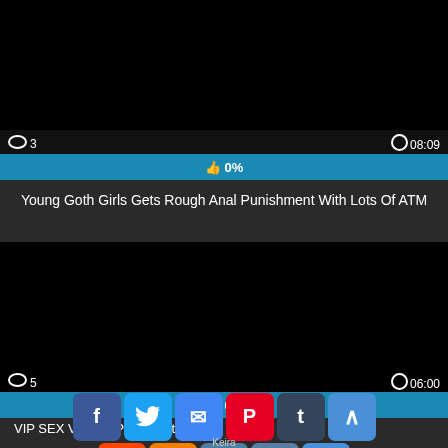[Figure (screenshot): Video thumbnail - black/dark frame with view count 3 and duration 08:09]
👁 3   🕐 08:09
[Figure (other): Blue progress bar showing 0% likes with thumbs up icon]
Young Goth Girls Gets Rough Anal Punishment With Lots Of ATM
[Figure (screenshot): Second video thumbnail - black frame with view count 5 and duration 06:00]
👁 5   🕐 06:00
[Figure (other): Blue progress bar showing 0% likes]
VIP SEX VAU... | ...se | ...ne | P...ophisticated Girl
[Figure (other): Social share buttons: Facebook, Twitter, Email, Pinterest, Tumblr, scroll-up, Reddit, Blogger, WordPress, VK, More]
Keira